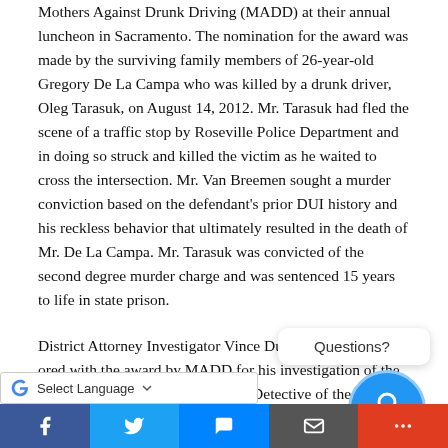Mothers Against Drunk Driving (MADD) at their annual luncheon in Sacramento. The nomination for the award was made by the surviving family members of 26-year-old Gregory De La Campa who was killed by a drunk driver, Oleg Tarasuk, on August 14, 2012. Mr. Tarasuk had fled the scene of a traffic stop by Roseville Police Department and in doing so struck and killed the victim as he waited to cross the intersection. Mr. Van Breemen sought a murder conviction based on the defendant's prior DUI history and his reckless behavior that ultimately resulted in the death of Mr. De La Campa. Mr. Tarasuk was convicted of the second degree murder charge and was sentenced [to] 15 years to life in state prison.
District Attorney Investigator Vince Dutto was also honored with the award by MADD for his investigation of the Tarasuk case while employed as a Detective of the Roseville Police Department. In addition to the Tarasuk investigation, his new assignment as...